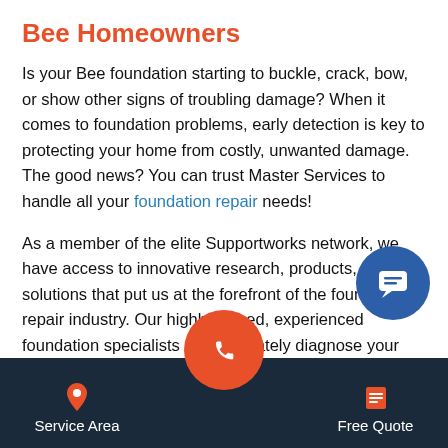Bee Homeowners
Is your Bee foundation starting to buckle, crack, bow, or show other signs of troubling damage? When it comes to foundation problems, early detection is key to protecting your home from costly, unwanted damage. The good news? You can trust Master Services to handle all your foundation repair needs!
As a member of the elite Supportworks network, we have access to innovative research, products, and solutions that put us at the forefront of the foundation repair industry. Our highly trained, experienced foundation specialists can accurately diagnose your foundation problem and develop a tailored solution for your home. Using our top-of-the line foundation repair products, we can permanently restore
[Figure (other): Blue circular chat bubble button with speech/message icon, floating on right side]
Service Area | [phone button] | Free Quote